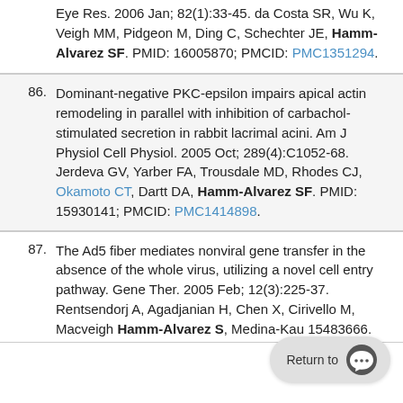Eye Res. 2006 Jan; 82(1):33-45. da Costa SR, Wu K, Veigh MM, Pidgeon M, Ding C, Schechter JE, Hamm-Alvarez SF. PMID: 16005870; PMCID: PMC1351294.
86. Dominant-negative PKC-epsilon impairs apical actin remodeling in parallel with inhibition of carbachol-stimulated secretion in rabbit lacrimal acini. Am J Physiol Cell Physiol. 2005 Oct; 289(4):C1052-68. Jerdeva GV, Yarber FA, Trousdale MD, Rhodes CJ, Okamoto CT, Dartt DA, Hamm-Alvarez SF. PMID: 15930141; PMCID: PMC1414898.
87. The Ad5 fiber mediates nonviral gene transfer in the absence of the whole virus, utilizing a novel cell entry pathway. Gene Ther. 2005 Feb; 12(3):225-37. Rentsendorj A, Agadjanian H, Chen X, Cirivello M, Macveigh M, Hamm-Alvarez S, Medina-Kau... PMID: 15483666.